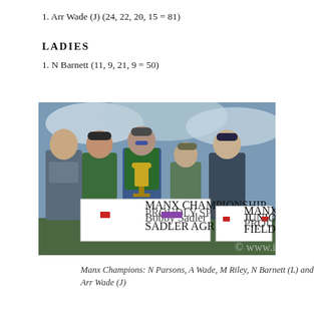1. Arr Wade (J) (24, 22, 20, 15 = 81)
LADIES
1. N Barnett (11, 9, 21, 9 = 50)
[Figure (photo): Group photo of five people standing outdoors, holding a trophy and championship signs reading 'Manx Championship - Proudly Sponsored by Bobby Sadler - Sadler Agricultural Supplies Ltd' and 'Manx Championship Juniors - Proudly Sponsored by Field and Range']
Manx Champions: N Parsons, A Wade, M Riley, N Barnett (L) and Arr Wade (J)